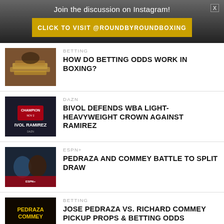Join the discussion on Instagram!
CLICK TO VISIT @ROUNDBYROUNDBOXING
[Figure (photo): Hands holding dollar bills - betting article thumbnail]
BETTING
HOW DO BETTING ODDS WORK IN BOXING?
[Figure (photo): Bivol vs Ramirez fight poster for DAZN]
DAZN
BIVOL DEFENDS WBA LIGHT-HEAVYWEIGHT CROWN AGAINST RAMIREZ
[Figure (photo): Pedraza and Commey boxing match action photo]
ESPN+
PEDRAZA AND COMMEY BATTLE TO SPLIT DRAW
[Figure (photo): Pedraza vs Commey fight promotional graphic]
BETTING
JOSE PEDRAZA VS. RICHARD COMMEY PICKUP PROPS & BETTING ODDS